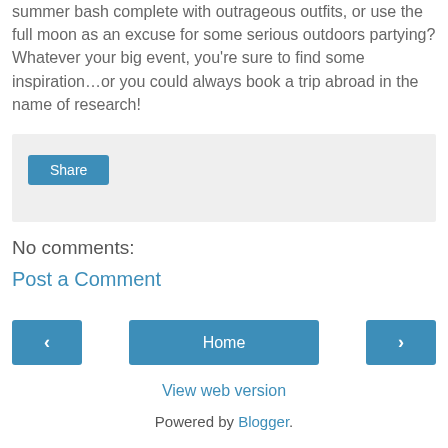summer bash complete with outrageous outfits, or use the full moon as an excuse for some serious outdoors partying? Whatever your big event, you're sure to find some inspiration…or you could always book a trip abroad in the name of research!
[Figure (other): Share button widget area with light grey background and a blue Share button]
No comments:
Post a Comment
Home (navigation buttons: previous arrow, Home, next arrow)
View web version
Powered by Blogger.